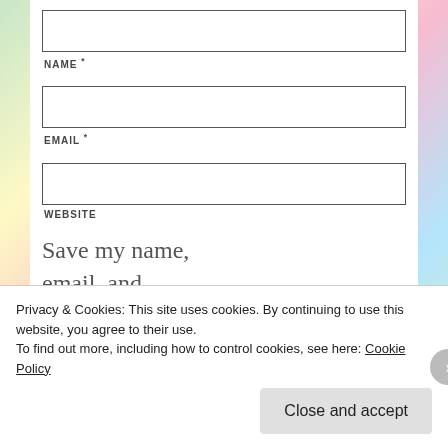NAME *
EMAIL *
WEBSITE
Save my name, email, and website in this browser for the next time I comment.
Privacy & Cookies: This site uses cookies. By continuing to use this website, you agree to their use. To find out more, including how to control cookies, see here: Cookie Policy
Close and accept